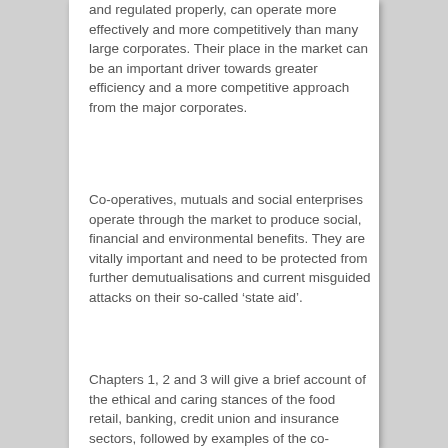and regulated properly, can operate more effectively and more competitively than many large corporates. Their place in the market can be an important driver towards greater efficiency and a more competitive approach from the major corporates.
Co-operatives, mutuals and social enterprises operate through the market to produce social, financial and environmental benefits. They are vitally important and need to be protected from further demutualisations and current misguided attacks on their so-called ‘state aid’.
Chapters 1, 2 and 3 will give a brief account of the ethical and caring stances of the food retail, banking, credit union and insurance sectors, followed by examples of the co-operative contribution, in this and other